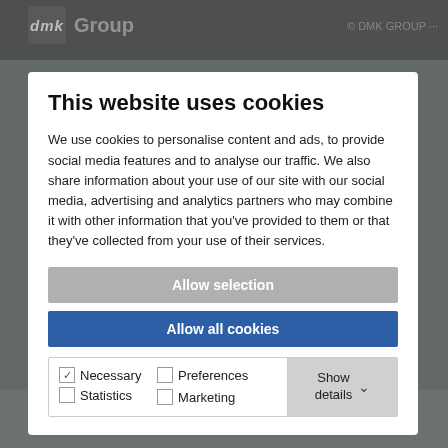[Figure (screenshot): DMK Group website header with dark background, showing dmk logo and Group text on left, DMK GROUP text partially visible on right]
This website uses cookies
We use cookies to personalise content and ads, to provide social media features and to analyse our traffic. We also share information about your use of our site with our social media, advertising and analytics partners who may combine it with other information that you've provided to them or that they've collected from your use of their services.
Allow selection
Allow all cookies
Necessary   Preferences   Statistics   Marketing   Show details